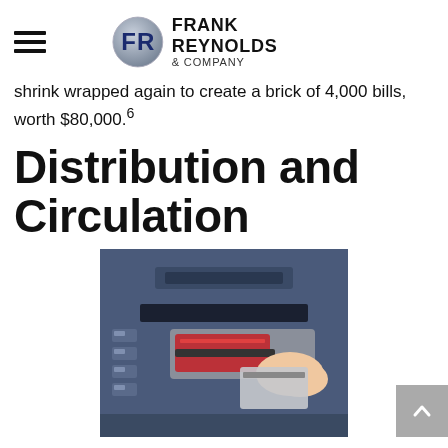Frank Reynolds & Company
shrink wrapped again to create a brick of 4,000 bills, worth $80,000.6
Distribution and Circulation
[Figure (photo): A person inserting a card into an ATM machine card slot, close-up view of the card reader and keypad area of a blue ATM.]